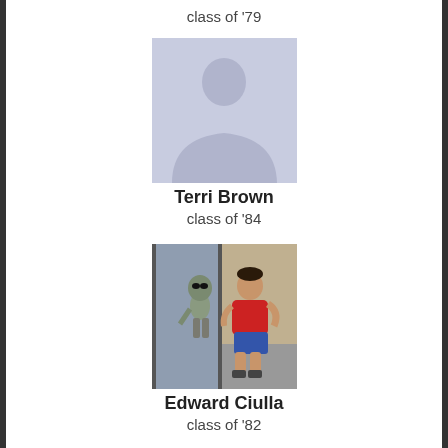class of '79
[Figure (illustration): Default female silhouette placeholder avatar with light blue-grey background]
Terri Brown
class of '84
[Figure (photo): Photo of Edward Ciulla posing with an alien statue figure outside a storefront, wearing a red shirt]
Edward Ciulla
class of '82
[Figure (illustration): Default female silhouette placeholder avatar with light blue-grey background]
Susan Hoffman
class of '74